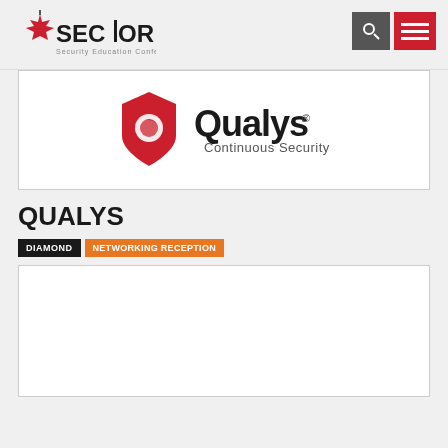SECTOR — Security Education Conference
[Figure (logo): Qualys logo with red shield icon and 'Qualys. Continuous Security' text]
QUALYS
DIAMOND   NETWORKING RECEPTION
[Figure (photo): Sponsor content box (partially visible)]